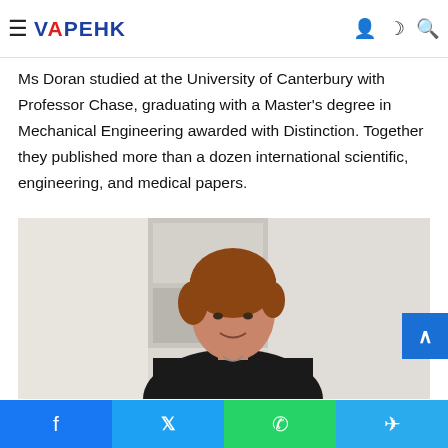VAPEHK
with wearable devices, may be a first for the two organisations. Doran and Professor Chase agreed to...
Ms Doran studied at the University of Canterbury with Professor Chase, graduating with a Master's degree in Mechanical Engineering awarded with Distinction. Together they published more than a dozen international scientific, engineering, and medical papers.
[Figure (photo): Photo of a woman with short reddish-brown hair wearing a black polo shirt, standing in a bright room with a light-coloured wall/door in the background.]
Facebook share | Twitter share | WhatsApp share | Telegram share